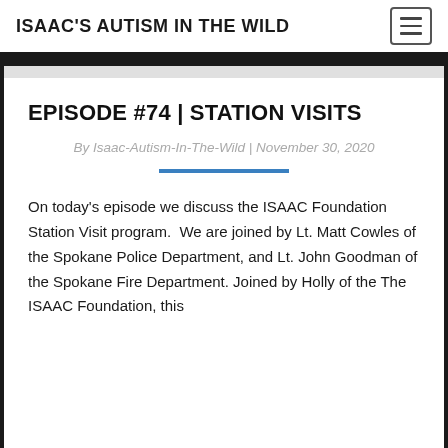ISAAC'S AUTISM IN THE WILD
EPISODE #74 | STATION VISITS
By Isaac-Autism-In-The-Wild | November 30, 2020
On today's episode we discuss the ISAAC Foundation Station Visit program.  We are joined by Lt. Matt Cowles of the Spokane Police Department, and Lt. John Goodman of the Spokane Fire Department. Joined by Holly of the The ISAAC Foundation, this